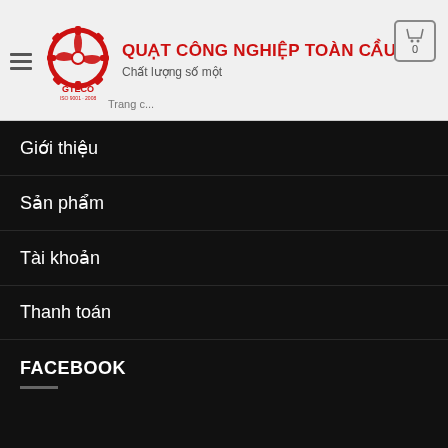QUẠT CÔNG NGHIỆP TOÀN CẦU — Chất lượng số một | GTECO ISO 9001:2008
Giới thiệu
Sản phẩm
Tài khoản
Thanh toán
FACEBOOK
Thiết kế web chuẩn SEO bởi SALESTOP1